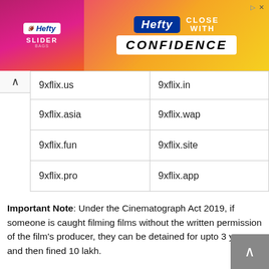[Figure (other): Hefty Slider Bags advertisement banner with pink/yellow/orange gradient background, Hefty logo in blue box, 'CLOSE WITH CONFIDENCE' text]
| 9xflix.us | 9xflix.in |
| 9xflix.asia | 9xflix.wap |
| 9xflix.fun | 9xflix.site |
| 9xflix.pro | 9xflix.app |
Important Note: Under the Cinematograph Act 2019, if someone is caught filming films without the written permission of the film's producer, they can be detained for upto 3 years, and then fined 10 lakh.